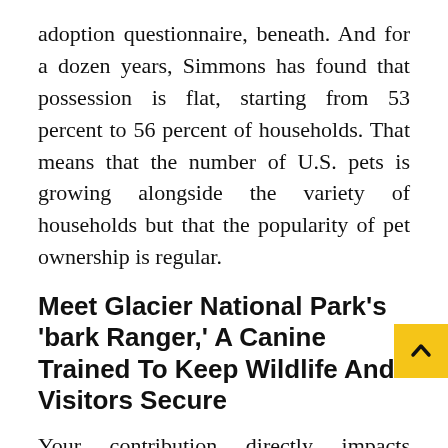adoption questionnaire, beneath. And for a dozen years, Simmons has found that possession is flat, starting from 53 percent to 56 percent of households. That means that the number of U.S. pets is growing alongside the variety of households but that the popularity of pet ownership is regular.
Meet Glacier National Park's 'bark Ranger,' A Canine Trained To Keep Wildlife And Visitors Secure
Your contribution directly impacts Veterans and their A.C.E skilled animals by providing every little thing they should start their together on the best paw. The on-line self-